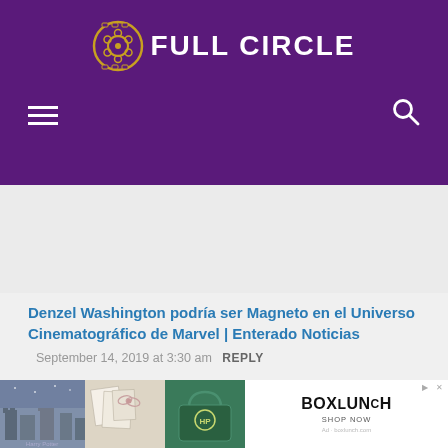FULL CIRCLE
Denzel Washington podría ser Magneto en el Universo Cinematográfico de Marvel | Enterado Noticias
September 14, 2019 at 3:30 am  REPLY
[...] acuerdo a Full Circle Cinema, Marvel Studios está considerando que Magneto y el Profesor Charles